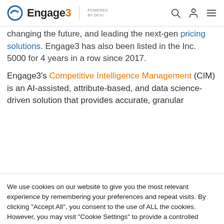Engage3 POWERED BY DEXI
changing the future, and leading the next-gen pricing solutions. Engage3 has also been listed in the Inc. 5000 for 4 years in a row since 2017.
Engage3’s Competitive Intelligence Management (CIM) is an AI-assisted, attribute-based, and data science-driven solution that provides accurate, granular
We use cookies on our website to give you the most relevant experience by remembering your preferences and repeat visits. By clicking “Accept All”, you consent to the use of ALL the cookies. However, you may visit "Cookie Settings" to provide a controlled consent.
Cookie Settings
Accept All